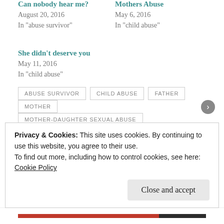Can nobody hear me? August 20, 2016 In "abuse survivor"
Mothers Abuse May 6, 2016 In "child abuse"
She didn't deserve you May 11, 2016 In "child abuse"
ABUSE SURVIVOR
CHILD ABUSE
FATHER
MOTHER
MOTHER-DAUGHTER SEXUAL ABUSE
PHYSICAL ABUSE
SEXUAL ABUSE
THERAPY
Privacy & Cookies: This site uses cookies. By continuing to use this website, you agree to their use. To find out more, including how to control cookies, see here: Cookie Policy
Close and accept